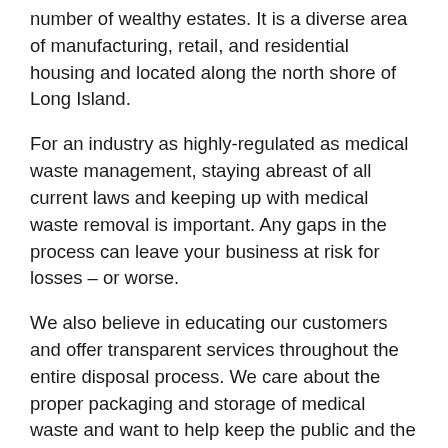number of wealthy estates. It is a diverse area of manufacturing, retail, and residential housing and located along the north shore of Long Island.
For an industry as highly-regulated as medical waste management, staying abreast of all current laws and keeping up with medical waste removal is important. Any gaps in the process can leave your business at risk for losses – or worse.
We also believe in educating our customers and offer transparent services throughout the entire disposal process. We care about the proper packaging and storage of medical waste and want to help keep the public and the environment safe too.
We also make the pick-up of medical waste convenient so your business can focus on its core practices. All you have to do is request a pick-up at your Glen Cove facility and we'll take care of the rest!